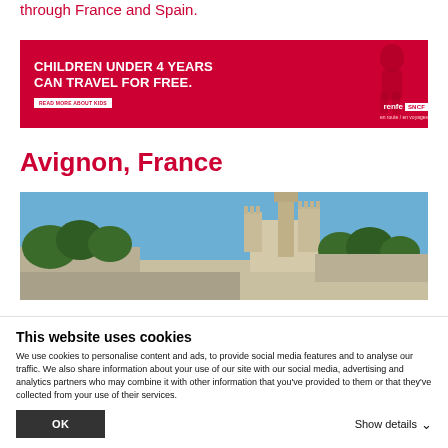through France and Spain.
[Figure (infographic): Red advertisement banner for Renfe/SNCF reading 'CHILDREN UNDER 4 YEARS CAN TRAVEL FOR FREE.' with a Read More About Kids button, a child silhouette, and Renfe SNCF logos.]
Avignon, France
[Figure (photo): Photograph of Avignon, France showing a historic castle/palace skyline with towers and fortified walls, green trees in foreground against a blue sky.]
This website uses cookies
We use cookies to personalise content and ads, to provide social media features and to analyse our traffic. We also share information about your use of our site with our social media, advertising and analytics partners who may combine it with other information that you've provided to them or that they've collected from your use of their services.